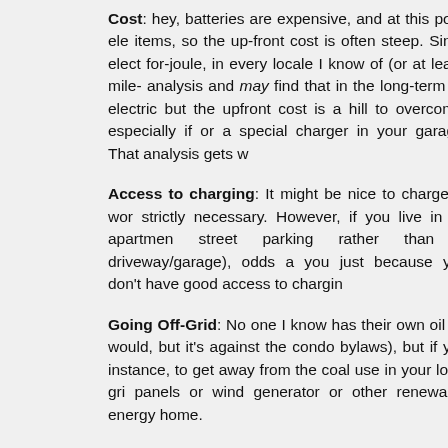Cost: hey, batteries are expensive, and at this point ele items, so the up-front cost is often steep. Since elect for-joule, in every locale I know of (or at least, mile- analysis and may find that in the long-term an electric but the upfront cost is a hill to overcome, especially if or a special charger in your garage. That analysis gets w
Access to charging: It might be nice to charge at wor strictly necessary. However, if you live in an apartmen street parking rather than a driveway/garage), odds a you just because you don't have good access to chargin
Going Off-Grid: No one I know has their own oil ref would, but it's against the condo bylaws), but if you instance, to get away from the coal use in your local gri panels or wind generator or other renewable energy home.
Range: Electric cars will have a limited range, and until swaps become common-place, that's probably going to